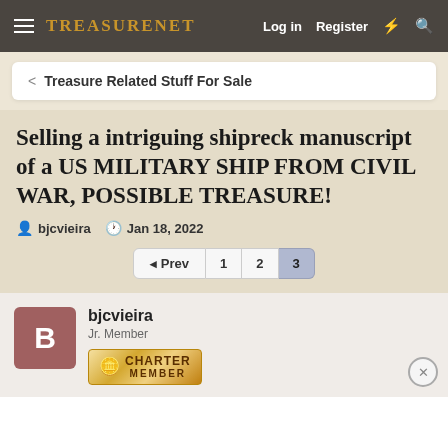TreasureNet  Log in  Register
< Treasure Related Stuff For Sale
Selling a intriguing shipreck manuscript of a US MILITARY SHIP FROM CIVIL WAR, POSSIBLE TREASURE!
bjcvieira  Jan 18, 2022
◄ Prev  1  2  3
bjcvieira
Jr. Member
CHARTER MEMBER